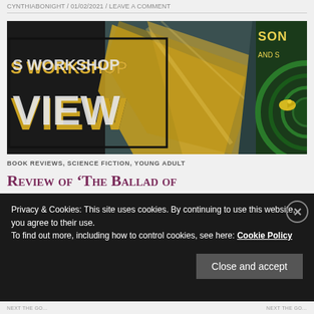CYNTHIABONIGHT / 01/02/2021 / LEAVE A COMMENT
[Figure (illustration): Book review banner image. Left portion shows black box with text 'S WORKSHOP VIEW' in large bold sans-serif. Center shows golden/yellow sculptural figure (angel or bird) against dark teal background. Right portion shows a book cover with green concentric circles and a yellow bird, partial text 'SONG AND SH'.]
BOOK REVIEWS, SCIENCE FICTION, YOUNG ADULT
Review of 'The Ballad of
Privacy & Cookies: This site uses cookies. By continuing to use this website, you agree to their use.
To find out more, including how to control cookies, see here: Cookie Policy
Close and accept
NEXT THE GO...   NEXT THE GO...